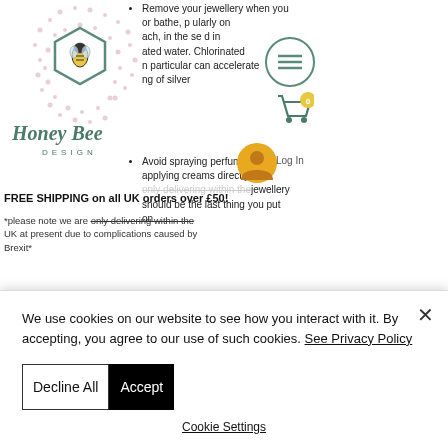[Figure (logo): Honey Bee Design logo with hexagon bee illustration and decorative dot pattern]
Remove your jewellery when you or bathe, particularly on ach, in the sea and in ated water. Chlorinated n particular can accelerate ng of silver
Avoid spraying perfume or applying creams directly onto the jewellery should be the last thing you put on
FREE SHIPPING on all UK orders over £50!
*please note we are only delivering within the UK at present due to complications caused by Brexit*
We use cookies on our website to see how you interact with it. By accepting, you agree to our use of such cookies. See Privacy Policy
Decline All
Accept
Cookie Settings